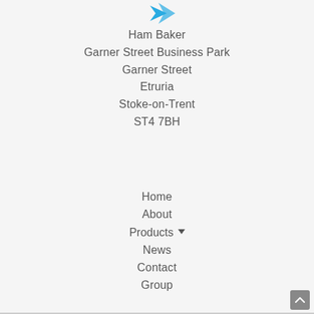[Figure (logo): Blue bird/arrow logo icon at top center]
Ham Baker
Garner Street Business Park
Garner Street
Etruria
Stoke-on-Trent
ST4 7BH
Home
About
Products ▾
News
Contact
Group